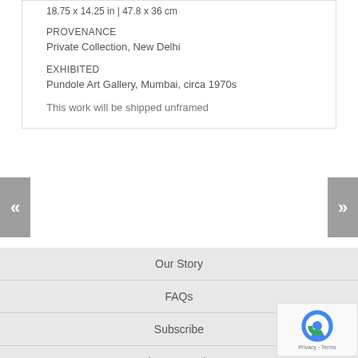18.75 x 14.25 in  |  47.8 x 36 cm
PROVENANCE
Private Collection, New Delhi
EXHIBITED
Pundole Art Gallery, Mumbai, circa 1970s
This work will be shipped unframed
[Figure (other): Left navigation arrow button (double chevron left)]
[Figure (other): Right navigation arrow button (double chevron right)]
Our Story
FAQs
Subscribe
BACK TO TOP
Site Categories
[Figure (other): reCAPTCHA badge with Privacy and Terms links]